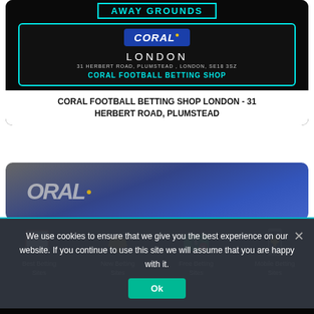[Figure (screenshot): Away Grounds website card showing Coral Football Betting Shop London with teal border, Coral logo, address, and shop label]
CORAL FOOTBALL BETTING SHOP LONDON - 31 HERBERT ROAD, PLUMSTEAD
[Figure (photo): Partial photo of Coral signage in blue tones - second card beginning]
We use cookies to ensure that we give you the best experience on our website. If you continue to use this site we will assume that you are happy with it.
[Figure (screenshot): Website footer with four icon navigation items: Best Betting Sites, New Betting Sites, Free Betting Sites, Mobile Betting Sites]